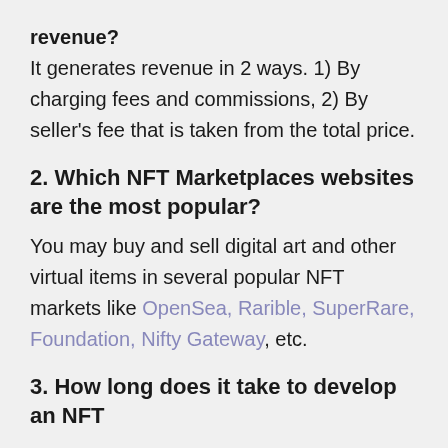It generates revenue in 2 ways. 1) By charging fees and commissions, 2) By seller's fee that is taken from the total price.
2. Which NFT Marketplaces websites are the most popular?
You may buy and sell digital art and other virtual items in several popular NFT markets like OpenSea, Rarible, SuperRare, Foundation, Nifty Gateway, etc.
3. How long does it take to develop an NFT